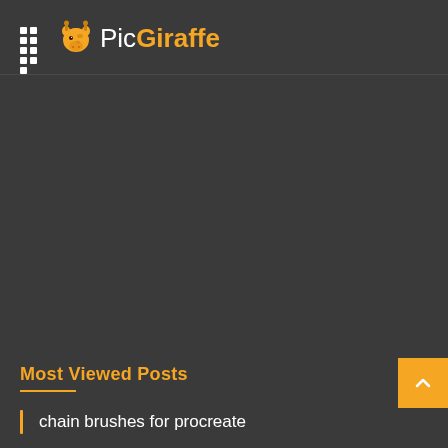PicGiraffe
Most Viewed Posts
chain brushes for procreate